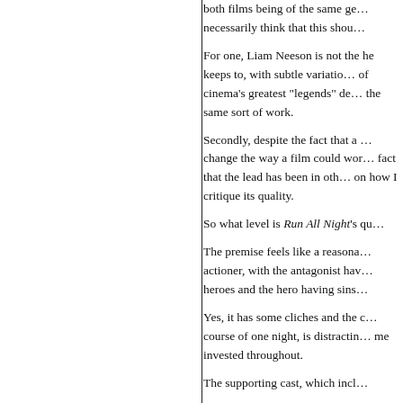both films being of the same ge… necessarily think that this shou…
For one, Liam Neeson is not the he keeps to, with subtle variatio… of cinema's greatest "legends" de… the same sort of work.
Secondly, despite the fact that a … change the way a film could wor… fact that the lead has been in oth… on how I critique its quality.
So what level is Run All Night's qu…
The premise feels like a reasona… actioner, with the antagonist hav… heroes and the hero having sins…
Yes, it has some cliches and the c… course of one night, is distractin… me invested throughout.
The supporting cast, which incl…